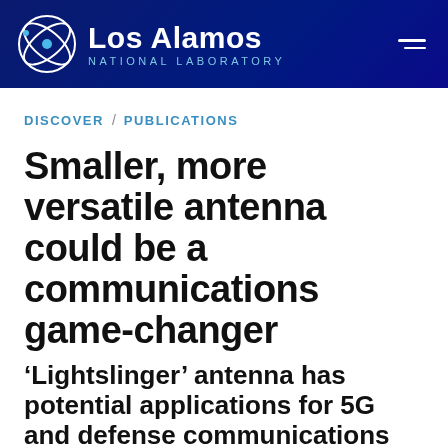Los Alamos NATIONAL LABORATORY
DISCOVER / PUBLICATIONS
Smaller, more versatile antenna could be a communications game-changer
‘Lightslinger’ antenna has potential applications for 5G and defense communications